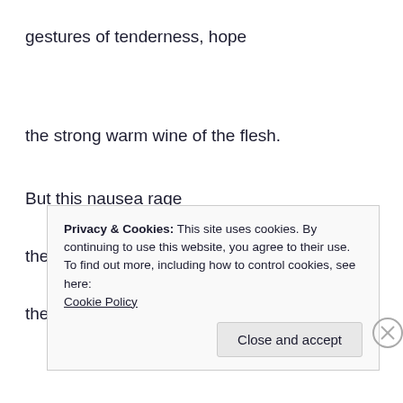gestures of tenderness, hope
the strong warm wine of the flesh.
But this nausea rage
the daily news makes speech brutal:
the swift bloody thrust of the shrike
Privacy & Cookies: This site uses cookies. By continuing to use this website, you agree to their use.
To find out more, including how to control cookies, see here:
Cookie Policy

Close and accept